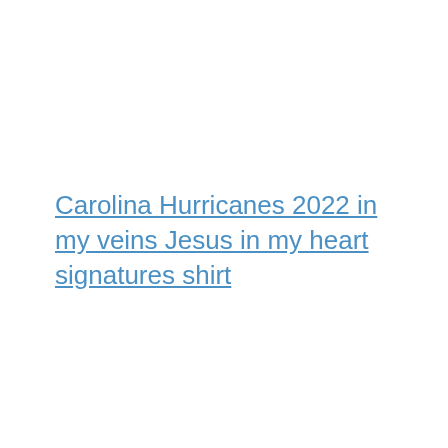Carolina Hurricanes 2022 in my veins Jesus in my heart signatures shirt